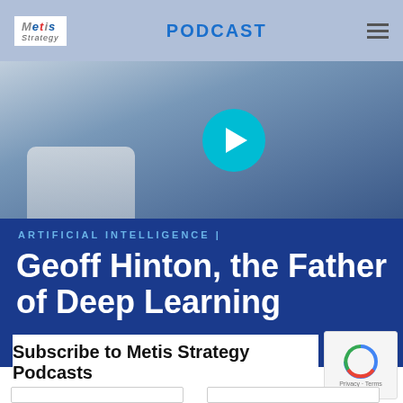Metis Strategy | PODCAST
[Figure (photo): Hero image of a person (Geoff Hinton) with a blue play button overlay, on a blue-toned background]
ARTIFICIAL INTELLIGENCE |
Geoff Hinton, the Father of Deep Learning
June 20, 2016
Subscribe to Metis Strategy Podcasts